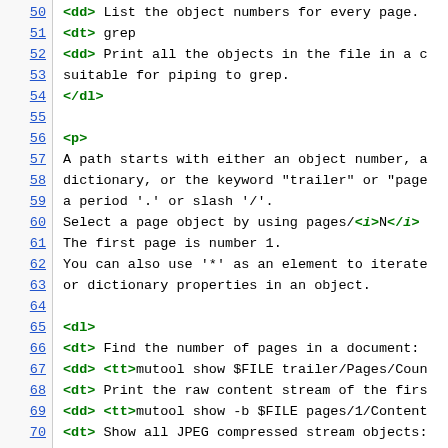50  <dd> List the object numbers for every page.
51  <dt> grep
52  <dd> Print all the objects in the file in a c
53       suitable for piping to grep.
54  </dl>
55
56  <p>
57  A path starts with either an object number, a
58  dictionary, or the keyword "trailer" or "page
59  a period '.' or slash '/'.
60  Select a page object by using pages/<i>N</i>
61  The first page is number 1.
62  You can also use '*' as an element to iterate
63  or dictionary properties in an object.
64
65  <dl>
66  <dt> Find the number of pages in a document:
67  <dd> <tt>mutool show $FILE trailer/Pages/Coun
68  <dt> Print the raw content stream of the firs
69  <dd> <tt>mutool show -b $FILE pages/1/Content
70  <dt> Show all JPEG compressed stream objects: